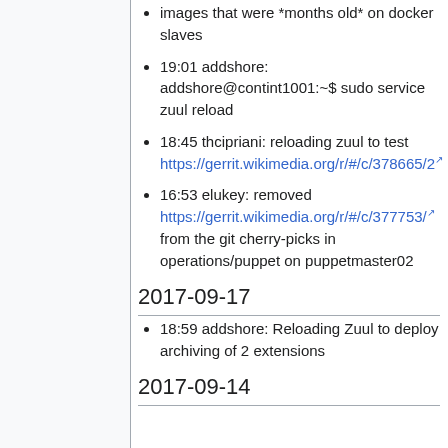images that were *months old* on docker slaves
19:01 addshore: addshore@contint1001:~$ sudo service zuul reload
18:45 thcipriani: reloading zuul to test https://gerrit.wikimedia.org/r/#/c/378665/2
16:53 elukey: removed https://gerrit.wikimedia.org/r/#/c/377753/ from the git cherry-picks in operations/puppet on puppetmaster02
2017-09-17
18:59 addshore: Reloading Zuul to deploy archiving of 2 extensions
2017-09-14